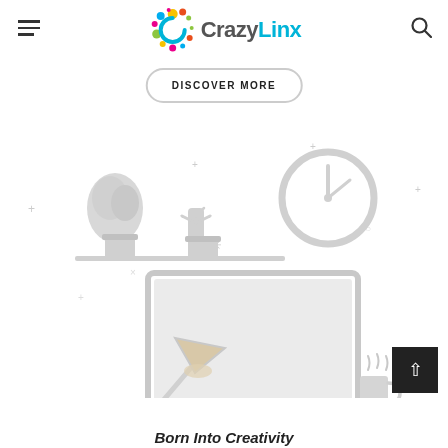CrazyLinx (logo with hamburger menu and search icon)
DISCOVER MORE
[Figure (illustration): Light grey line-art illustration of a home office desk scene: two potted plants on a shelf, a clock, a desk lamp, a monitor, and a coffee mug with steam. Decorative plus, cross, and dot symbols scattered around.]
Born Into Creativity